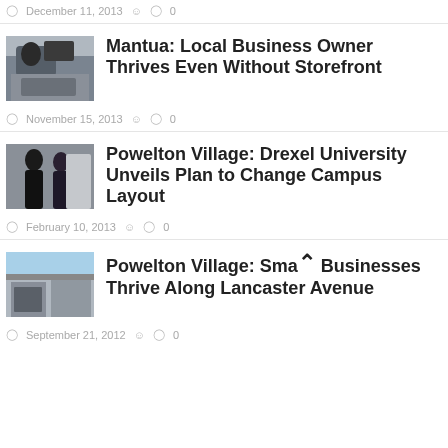December 11, 2013  0
[Figure (photo): Photo of person loading items into a vehicle trunk]
Mantua: Local Business Owner Thrives Even Without Storefront
November 15, 2013  0
[Figure (photo): Photo of people in a group conversation]
Powelton Village: Drexel University Unveils Plan to Change Campus Layout
February 10, 2013  0
[Figure (photo): Photo of a storefront building]
Powelton Village: Small Businesses Thrive Along Lancaster Avenue
September 21, 2012  0